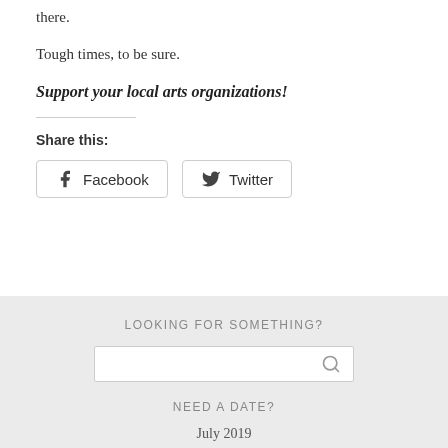there.
Tough times, to be sure.
Support your local arts organizations!
Share this:
[Figure (other): Facebook and Twitter social sharing buttons]
LOOKING FOR SOMETHING?
[Figure (other): Search input bar with magnifying glass icon]
NEED A DATE?
July 2019